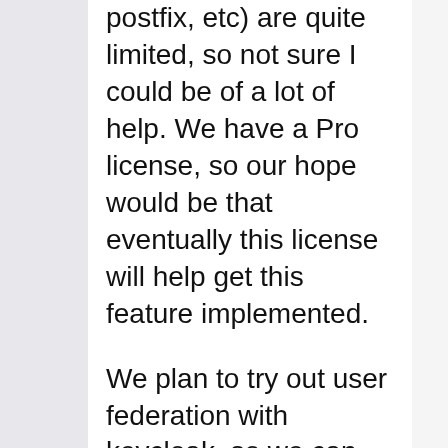postfix, etc) are quite limited, so not sure I could be of a lot of help. We have a Pro license, so our hope would be that eventually this license will help get this feature implemented.
We plan to try out user federation with keycloak, so we can authenticate other services without the need to give access to our OpenLDAP server. Not sure if that would be a solution. SOGo will not support it (or would it, via SAML2 broker?). We also use 2 plugins in Roundcube (carddav, and caldav), and I think caldav does not support OAuth. Here even